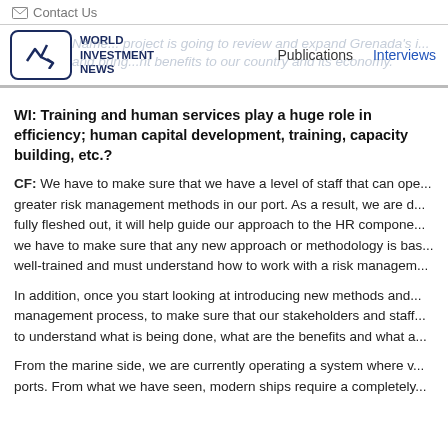Contact Us
WORLD INVESTMENT NEWS | Publications | Interviews
Name... project is going to review and expand Grenada's i... and bring... nt benefits to our country and its economy.
WI: Training and human services play a huge role in efficiency; human capital development, training, capacity building, etc.?
CF: We have to make sure that we have a level of staff that can ope... greater risk management methods in our port. As a result, we are d... fully fleshed out, it will help guide our approach to the HR compone... we have to make sure that any new approach or methodology is ba... well-trained and must understand how to work with a risk managem...
In addition, once you start looking at introducing new methods and... management process, to make sure that our stakeholders and staff... to understand what is being done, what are the benefits and what a...
From the marine side, we are currently operating a system where v... ports. From what we have seen, modern ships require a completely...